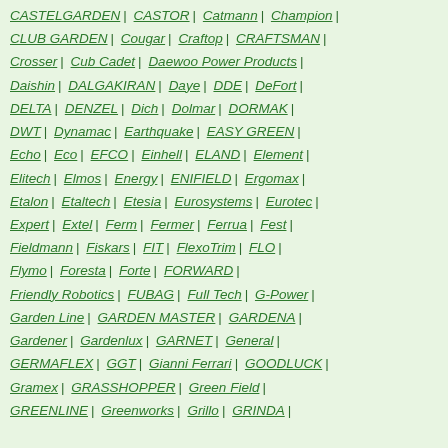CASTELGARDEN | CASTOR | Catmann | Champion | CLUB GARDEN | Cougar | Craftop | CRAFTSMAN | Crosser | Cub Cadet | Daewoo Power Products | Daishin | DALGAKIRAN | Daye | DDE | DeFort | DELTA | DENZEL | Dich | Dolmar | DORMAK | DWT | Dynamac | Earthquake | EASY GREEN | Echo | Eco | EFCO | Einhell | ELAND | Element | Elitech | Elmos | Energy | ENIFIELD | Ergomax | Etalon | Etaltech | Etesia | Eurosystems | Eurotec | Expert | Extel | Ferm | Fermer | Ferrua | Fest | Fieldmann | Fiskars | FIT | FlexoTrim | FLO | Flymo | Foresta | Forte | FORWARD | Friendly Robotics | FUBAG | Full Tech | G-Power | Garden Line | GARDEN MASTER | GARDENA | Gardener | Gardenlux | GARNET | General | GERMAFLEX | GGT | Gianni Ferrari | GOODLUCK | Gramex | GRASSHOPPER | Green Field | GREENLINE | Greenworks | Grillo | GRINDA